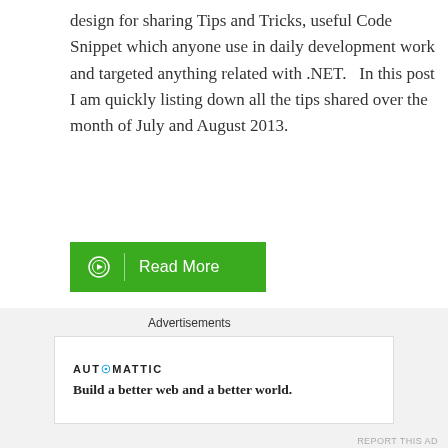design for sharing Tips and Tricks, useful Code Snippet which anyone use in daily development work and targeted anything related with .NET.   In this post I am quickly listing down all the tips shared over the month of July and August 2013.
[Figure (other): Green 'Read More' button with circle arrow icon and vertical divider]
.NET Tips and Tricks, Tips and Tricks
.NET Tips, .NET Tips and Tricks, dailydotnettips, Kinect, Kinect for Windows, Visual Studio, Visual Studio Tips
[Figure (other): Advertisement bar with Automattic logo and tagline: Build a better web and a better world.]